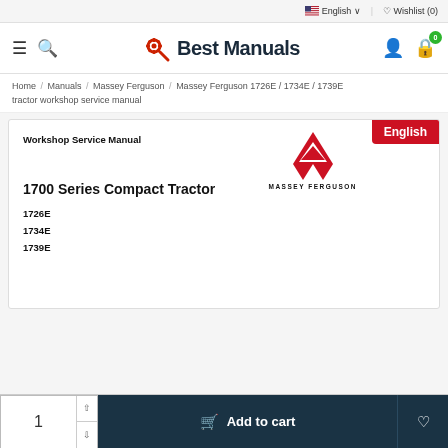English | Wishlist (0)
[Figure (logo): Best Manuals logo with gear and wrench icon]
Home / Manuals / Massey Ferguson / Massey Ferguson 1726E / 1734E / 1739E tractor workshop service manual
[Figure (screenshot): Workshop Service Manual cover for Massey Ferguson 1700 Series Compact Tractor showing models 1726E, 1734E, 1739E with English badge and Massey Ferguson logo]
Add to cart